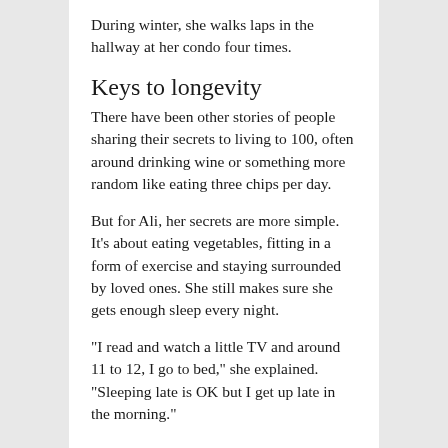During winter, she walks laps in the hallway at her condo four times.
Keys to longevity
There have been other stories of people sharing their secrets to living to 100, often around drinking wine or something more random like eating three chips per day.
But for Ali, her secrets are more simple. It’s about eating vegetables, fitting in a form of exercise and staying surrounded by loved ones. She still makes sure she gets enough sleep every night.
“I read and watch a little TV and around 11 to 12, I go to bed,” she explained. “Sleeping late is OK but I get up late in the morning.”